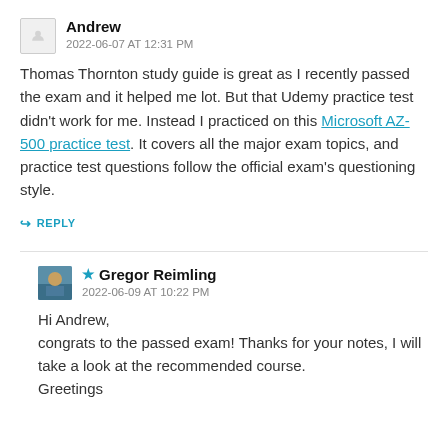Andrew
2022-06-07 AT 12:31 PM
Thomas Thornton study guide is great as I recently passed the exam and it helped me lot. But that Udemy practice test didn't work for me. Instead I practiced on this Microsoft AZ-500 practice test. It covers all the major exam topics, and practice test questions follow the official exam's questioning style.
REPLY
★ Gregor Reimling
2022-06-09 AT 10:22 PM
Hi Andrew,
congrats to the passed exam! Thanks for your notes, I will take a look at the recommended course.
Greetings